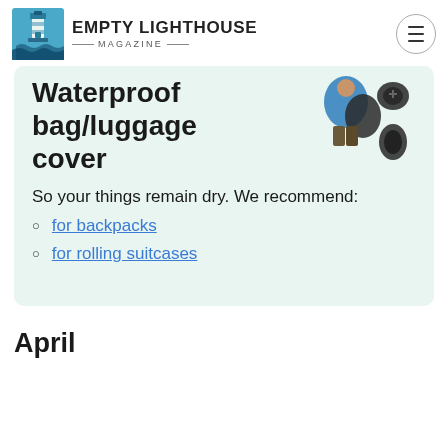EMPTY LIGHTHOUSE MAGAZINE
Waterproof bag/luggage cover
[Figure (photo): Person wearing a dark blue jacket with a waterproof backpack cover on their backpack, plus a standalone dark waterproof cover product shown separately]
So your things remain dry. We recommend:
for backpacks
for rolling suitcases
April